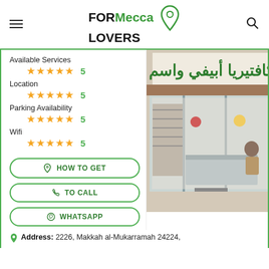FOR Mecca LOVERS
Available Services
★★★★★ 5
Location
★★★★★ 5
Parking Availability
★★★★★ 5
Wifi
★★★★★ 5
HOW TO GET
TO CALL
WHATSAPP
[Figure (photo): Storefront of a cafeteria with Arabic signage and a glass front, with a worker visible inside near a metal counter.]
Address: 2226, Makkah al-Mukarramah 24224,